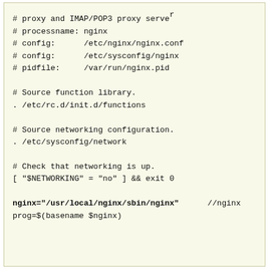# proxy and IMAP/POP3 proxy server
# processname: nginx
# config:      /etc/nginx/nginx.conf
# config:      /etc/sysconfig/nginx
# pidfile:     /var/run/nginx.pid

# Source function library.
. /etc/rc.d/init.d/functions

# Source networking configuration.
. /etc/sysconfig/network

# Check that networking is up.
[ "$NETWORKING" = "no" ] && exit 0

nginx="/usr/local/nginx/sbin/nginx"      //nginx
prog=$(basename $nginx)